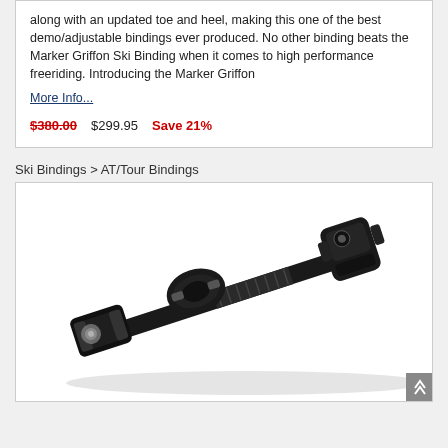along with an updated toe and heel, making this one of the best demo/adjustable bindings ever produced. No other binding beats the Marker Griffon Ski Binding when it comes to high performance freeriding. Introducing the Marker Griffon
More Info...
$380.00  $299.95  Save 21%
Ski Bindings > AT/Tour Bindings
[Figure (photo): Black ski binding (AT/Tour binding) shown at an angle on white background, with toe piece at lower left and heel piece at upper right.]